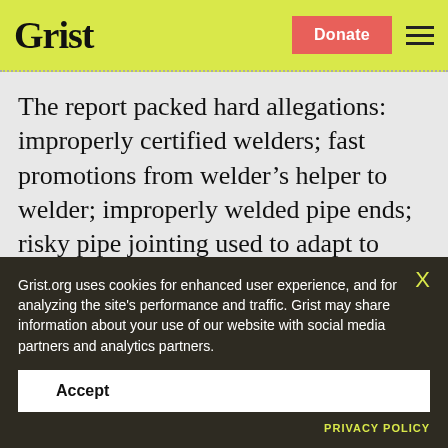Grist | Donate
The report packed hard allegations: improperly certified welders; fast promotions from welder’s helper to welder; improperly welded pipe ends; risky pipe jointing used to adapt to difficult terrain rather than searches for more stable routes. One claim — that 30 to 40 percent of the
Grist.org uses cookies for enhanced user experience, and for analyzing the site’s performance and traffic. Grist may share information about your use of our website with social media partners and analytics partners.
Accept
PRIVACY POLICY